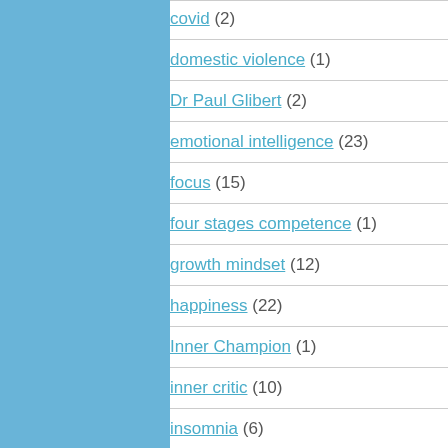covid (2)
domestic violence (1)
Dr Paul Glibert (2)
emotional intelligence (23)
focus (15)
four stages competence (1)
growth mindset (12)
happiness (22)
Inner Champion (1)
inner critic (10)
insomnia (6)
International day of happiness (1)
Julia Cameron (1)
loneliness (2)
mindfulness (21)